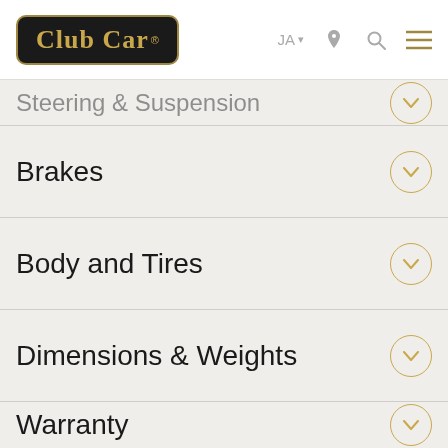Club Car — Navigation bar with logo, JA, location, search, and menu icons
Steering & Suspension
Brakes
Body and Tires
Dimensions & Weights
Warranty